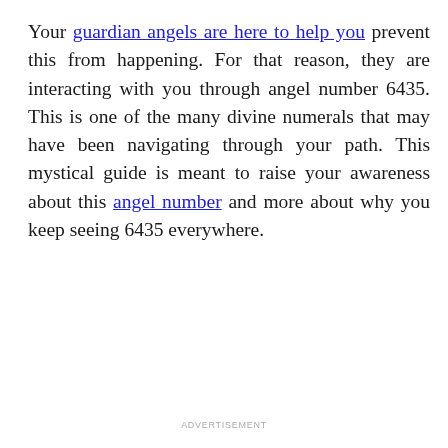Your guardian angels are here to help you prevent this from happening. For that reason, they are interacting with you through angel number 6435. This is one of the many divine numerals that may have been navigating through your path. This mystical guide is meant to raise your awareness about this angel number and more about why you keep seeing 6435 everywhere.
ADVERTISEMENT